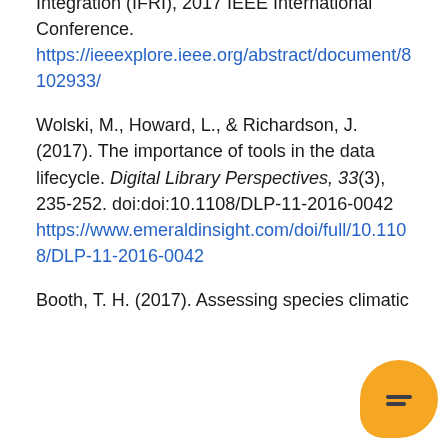Integration (IFRI), 2017 IEEE International Conference. https://ieeexplore.ieee.org/abstract/document/8102933/
Wolski, M., Howard, L., & Richardson, J. (2017). The importance of tools in the data lifecycle. Digital Library Perspectives, 33(3), 235-252. doi:doi:10.1108/DLP-11-2016-0042 https://www.emeraldinsight.com/doi/full/10.1108/DLP-11-2016-0042
Booth, T. H. (2017). Assessing species climatic